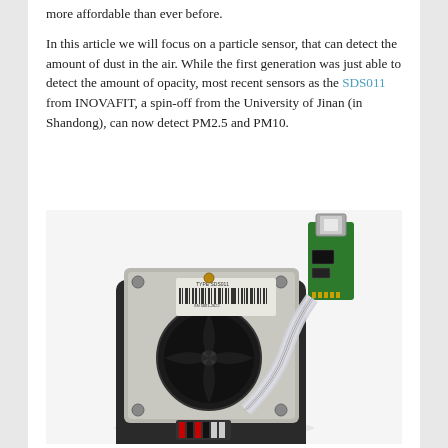more affordable than ever before.

In this article we will focus on a particle sensor, that can detect the amount of dust in the air. While the first generation was just able to detect the amount of opacity, most recent sensors as the SDS011 from INOVAFIT, a spin-off from the University of Jinan (in Shandong), can now detect PM2.5 and PM10.
[Figure (photo): Photo of an SDS011 particle sensor (square black and silver device with a circular fan and barcode label) next to a USB adapter board connected by a ribbon cable.]